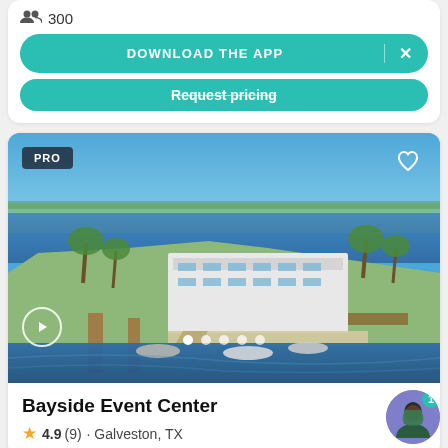300
DOWNLOAD THE APP
Request pricing
[Figure (photo): Aerial view of Bayside Event Center, a white multi-story waterfront building on a peninsula surrounded by blue water, with docks, boats, and palm trees visible]
Bayside Event Center
4.9 (9) · Galveston, TX